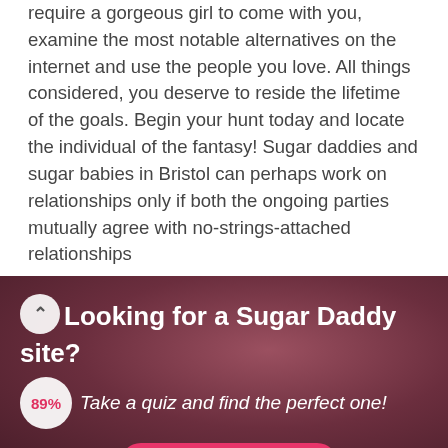require a gorgeous girl to come with you, examine the most notable alternatives on the internet and use the people you love. All things considered, you deserve to reside the lifetime of the goals. Begin your hunt today and locate the individual of the fantasy! Sugar daddies and sugar babies in Bristol can perhaps work on relationships only if both the ongoing parties mutually agree with no-strings-attached relationships
[Figure (infographic): Dark pink/maroon banner with text 'Looking for a Sugar Daddy site?' and subtitle 'Take a quiz and find the perfect one!' with a circular up-arrow icon and an '89%' badge circle, plus a pink START button partially visible.]
FIND SUGAR